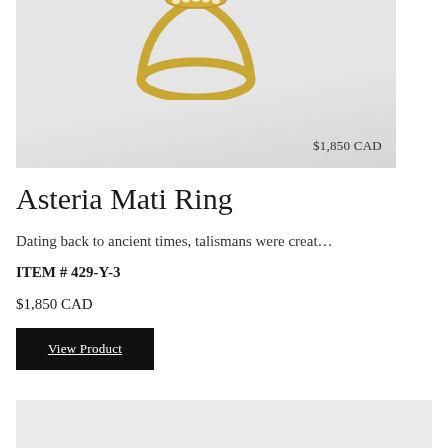[Figure (photo): Product photo of an Asteria Mati Ring — a gold ring with diamond accents on a light gray background. Price overlay shows $1,850 CAD in the bottom right corner of the image.]
Asteria Mati Ring
Dating back to ancient times, talismans were creat…
ITEM # 429-Y-3
$1,850 CAD
View Product
[Figure (photo): Partial view of another product photo on a light gray background, cropped at the bottom of the page.]